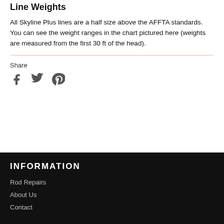Line Weights
All Skyline Plus lines are a half size above the AFFTA standards. You can see the weight ranges in the chart pictured here (weights are measured from the first 30 ft of the head).
Share
[Figure (infographic): Social media share icons: Facebook, Twitter, Pinterest]
INFORMATION
Rod Repairs
About Us
Contact